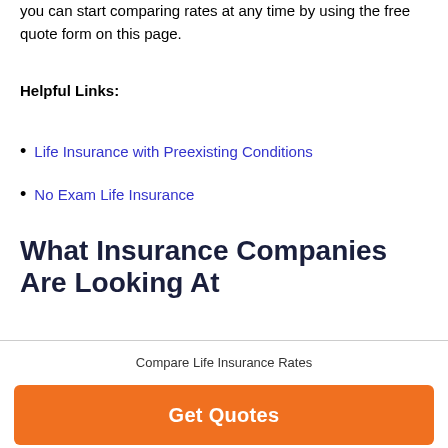you can start comparing rates at any time by using the free quote form on this page.
Helpful Links:
Life Insurance with Preexisting Conditions
No Exam Life Insurance
What Insurance Companies Are Looking At
Compare Life Insurance Rates
Get Quotes